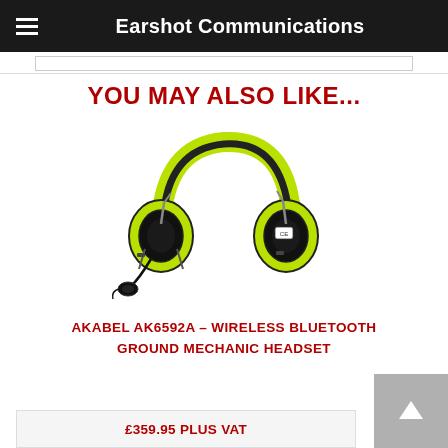Earshot Communications
YOU MAY ALSO LIKE...
[Figure (photo): Yellow/green wireless Bluetooth ground mechanic headset (AKABEL AK6592A) with black ear cups, hi-vis headband, and boom microphone]
AKABEL AK6592A – WIRELESS BLUETOOTH GROUND MECHANIC HEADSET
£359.95 PLUS VAT